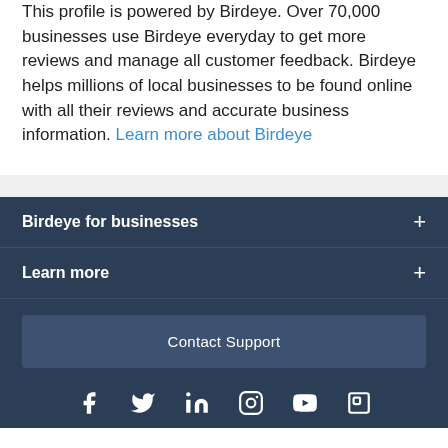This profile is powered by Birdeye. Over 70,000 businesses use Birdeye everyday to get more reviews and manage all customer feedback. Birdeye helps millions of local businesses to be found online with all their reviews and accurate business information. Learn more about Birdeye
Birdeye for businesses
Learn more
Contact Support
[Figure (other): Social media icons row: Facebook, Twitter, LinkedIn, Instagram, YouTube, and an app/glass icon]